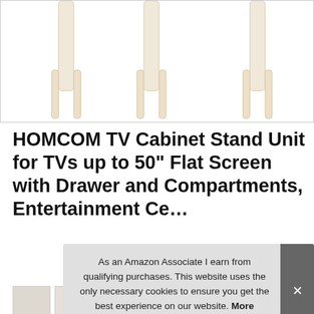[Figure (photo): Product image showing a furniture piece (TV cabinet stand) with light wood legs on white background, partially cropped at top]
HOMCOM TV Cabinet Stand Unit for TVs up to 50" Flat Screen with Drawer and Compartments, Entertainment Ce...
[Figure (photo): Thumbnail strip of product images at the bottom of the page]
As an Amazon Associate I earn from qualifying purchases. This website uses the only necessary cookies to ensure you get the best experience on our website. More information